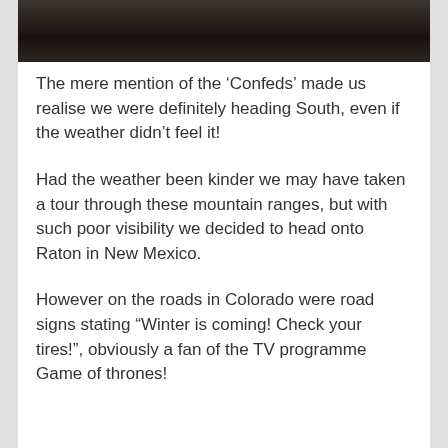[Figure (photo): Dark photograph showing what appears to be a wooden or rustic structure, partially cropped at top of page]
The mere mention of the ‘Confeds’ made us realise we were definitely heading South, even if the weather didn’t feel it!
Had the weather been kinder we may have taken a tour through these mountain ranges, but with such poor visibility we decided to head onto Raton in New Mexico.
However on the roads in Colorado were road signs stating “Winter is coming! Check your tires!”, obviously a fan of the TV programme Game of thrones!